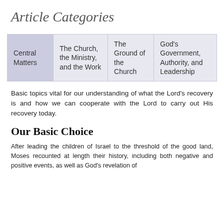Article Categories
| Central Matters | The Church, the Ministry, and the Work | The Ground of the Church | God's Government, Authority, and Leadership |
| --- | --- | --- | --- |
Basic topics vital for our understanding of what the Lord's recovery is and how we can cooperate with the Lord to carry out His recovery today.
Our Basic Choice
After leading the children of Israel to the threshold of the good land, Moses recounted at length their history, including both negative and positive events, as well as God's revelation of